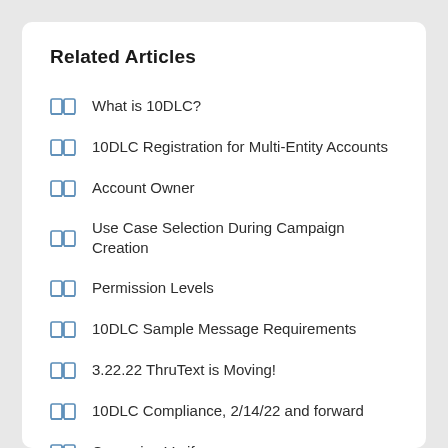Related Articles
What is 10DLC?
10DLC Registration for Multi-Entity Accounts
Account Owner
Use Case Selection During Campaign Creation
Permission Levels
10DLC Sample Message Requirements
3.22.22 ThruText is Moving!
10DLC Compliance, 2/14/22 and forward
Campaign Verify
Adding Brand & Use Case Registration Information for 10DLC